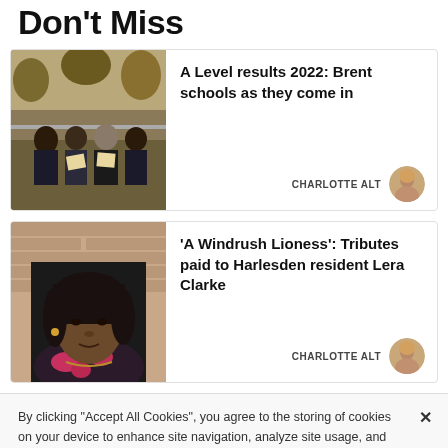Don't Miss
[Figure (photo): Group of young students sitting outdoors holding papers, autumn trees in background]
A Level results 2022: Brent schools as they come in
CHARLOTTE ALT
[Figure (photo): Portrait of an elderly woman with earrings and floral top, brick wall background]
'A Windrush Lioness': Tributes paid to Harlesden resident Lera Clarke
CHARLOTTE ALT
By clicking “Accept All Cookies”, you agree to the storing of cookies on your device to enhance site navigation, analyze site usage, and assist in our marketing efforts.